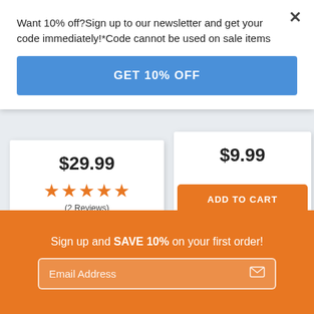Want 10% off?Sign up to our newsletter and get your code immediately!*Code cannot be used on sale items
GET 10% OFF
$29.99
★★★★★ (2 Reviews)
SELECT OPTIONS
$9.99
ADD TO CART
Sign up and SAVE 10% on your first order!
Email Address